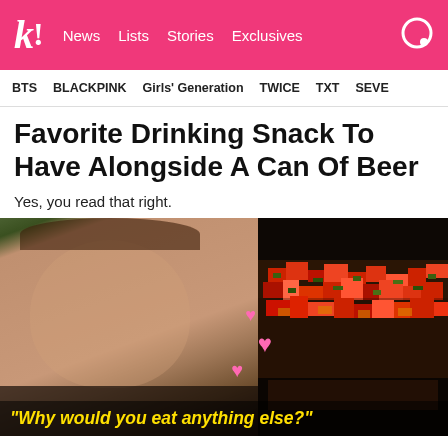K! News Lists Stories Exclusives
BTS BLACKPINK Girls' Generation TWICE TXT SEVE
Favorite Drinking Snack To Have Alongside A Can Of Beer
Yes, you read that right.
[Figure (photo): Left side: a young Asian woman with brown hair making a cute face with pink hearts overlaid. Right side: a pixelated/blurry image of kimchi or red spicy food. Overlay text at bottom reads: "Why would you eat anything else?"]